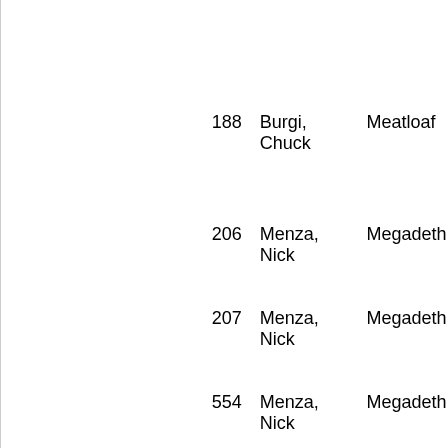188  Burgi, Chuck  Meatloaf
206  Menza, Nick  Megadeth
207  Menza, Nick  Megadeth
554  Menza, Nick  Megadeth